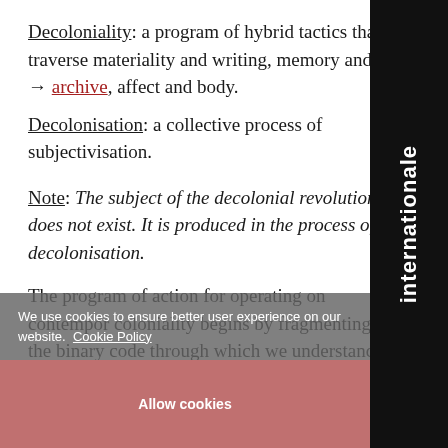Decoloniality: a program of hybrid tactics that traverse materiality and writing, memory and → archive, affect and body.
Decolonisation: a collective process of subjectivisation.
Note: The subject of the decolonial revolution does not exist. It is produced in the process of decolonisation.
The program of action for operating on contemporary coloniality begins by fragmenting the binary code through which we understand colonial violence in the neoliberal era. This is a binary code of simple divisions between the past and present, the north and → south, the First and the Third Worlds.